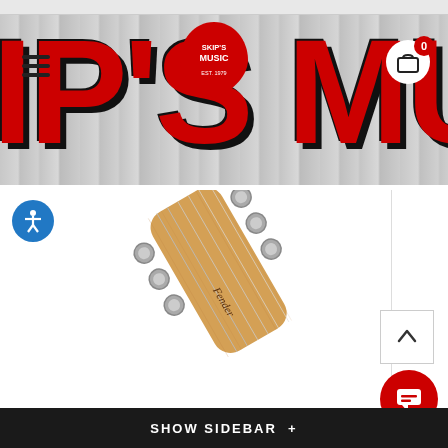[Figure (screenshot): Skip's Music store website header banner showing large red block letters 'IP'S MUS' on a wood-plank grey background with the Skip's Music guitar-pick logo in the center top]
[Figure (photo): Close-up photo of a Fender electric guitar headstock (Telecaster style) showing tuning pegs and 'Fender' logo on the maple neck, angled diagonally]
SHOW SIDEBAR +